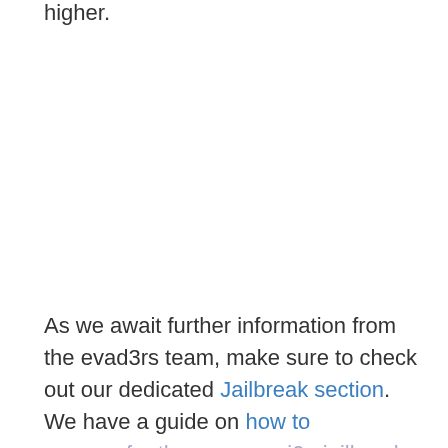higher.
As we await further information from the evad3rs team, make sure to check out our dedicated Jailbreak section. We have a guide on how to prepare for the new evasi0n jailbreak, as well Cydia news, tweak reviews, and more.